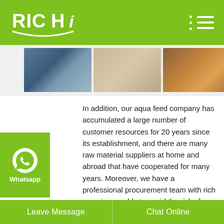[Figure (logo): RICHi brand logo in white on green background]
[Figure (photo): Three photos showing aquatic animals/fish for aqua feed company]
In addition, our aqua feed company has accumulated a large number of customer resources for 20 years since its establishment, and there are many raw material suppliers at home and abroad that have cooperated for many years. Moreover, we have a professional procurement team with rich experience, able to avoid the risk of raw material price increases, and have great procurement advantages.
[Figure (logo): WhatsApp icon with label 'Whatsapp' on green sidebar]
Leave Message   Chat Online